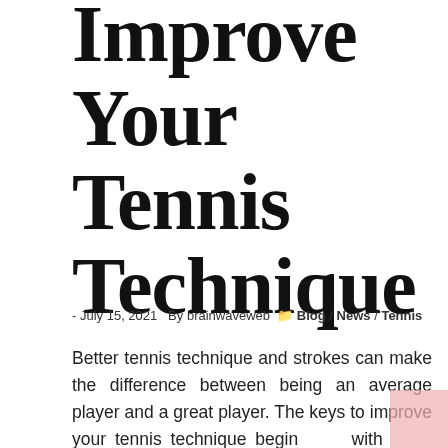Improve Your Tennis Technique
- July 15, 2021  By brainwaveweb  Blog / News / Tennis
Better tennis technique and strokes can make the difference between being an average player and a great player. The keys to improve your tennis technique begin with understanding the fundamentals of world class tennis strokes. There is not much difference